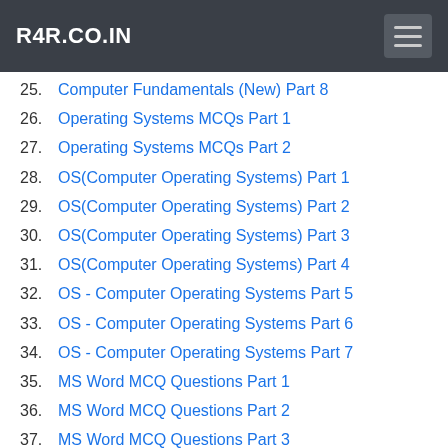R4R.CO.IN
25. Computer Fundamentals (New) Part 8
26. Operating Systems MCQs Part 1
27. Operating Systems MCQs Part 2
28. OS(Computer Operating Systems) Part 1
29. OS(Computer Operating Systems) Part 2
30. OS(Computer Operating Systems) Part 3
31. OS(Computer Operating Systems) Part 4
32. OS - Computer Operating Systems Part 5
33. OS - Computer Operating Systems Part 6
34. OS - Computer Operating Systems Part 7
35. MS Word MCQ Questions Part 1
36. MS Word MCQ Questions Part 2
37. MS Word MCQ Questions Part 3
38. MS Word MCQ Questions Part 4
39. MS Word MCQ Questions Part 5
40. MS Word MCQ Questions Part 7
41. MS Word MCQ Questions Part 6